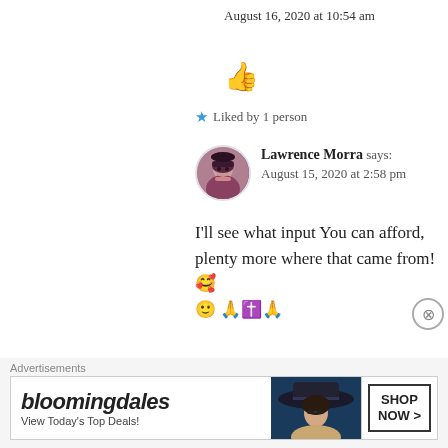August 16, 2020 at 10:54 am
👍
★ Liked by 1 person
Lawrence Morra says: August 15, 2020 at 2:58 pm
I'll see what input You can afford, plenty more where that came from! 🥰 🙂 🙏✝️🙏
Advertisements
[Figure (other): Bloomingdale's advertisement banner: logo with text 'bloomingdales', tagline 'View Today's Top Deals!', image of woman in hat, and SHOP NOW > button]